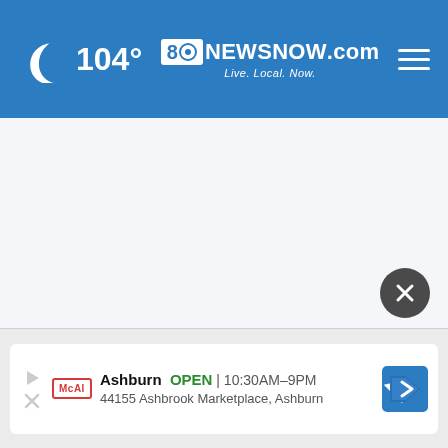104° 8NewsNow.com Live. Local. Now.
[Figure (screenshot): Empty white/light gray content area of a news website]
[Figure (other): Dark circular close button with X symbol]
Ashburn OPEN | 10:30AM–9PM 44155 Ashbrook Marketplace, Ashburn